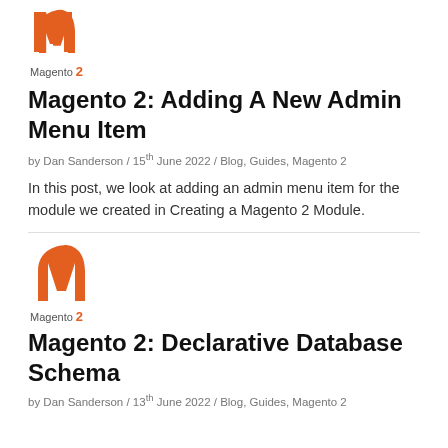[Figure (logo): Magento 2 logo — orange hat icon with text 'Magento' and orange bold '2']
Magento 2: Adding A New Admin Menu Item
by Dan Sanderson / 15th June 2022 / Blog, Guides, Magento 2
In this post, we look at adding an admin menu item for the module we created in Creating a Magento 2 Module.
[Figure (logo): Magento 2 logo — orange hat icon with text 'Magento' and orange bold '2']
Magento 2: Declarative Database Schema
by Dan Sanderson / 13th June 2022 / Blog, Guides, Magento 2